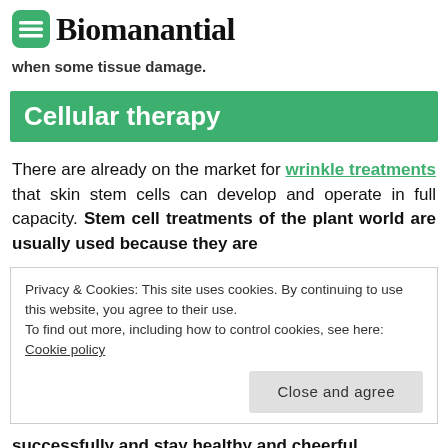Biomanantial
when some tissue damage.
Cellular therapy
There are already on the market for wrinkle treatments that skin stem cells can develop and operate in full capacity. Stem cell treatments of the plant world are usually used because they are
Privacy & Cookies: This site uses cookies. By continuing to use this website, you agree to their use.
To find out more, including how to control cookies, see here: Cookie policy
successfully and stay healthy and cheerful,